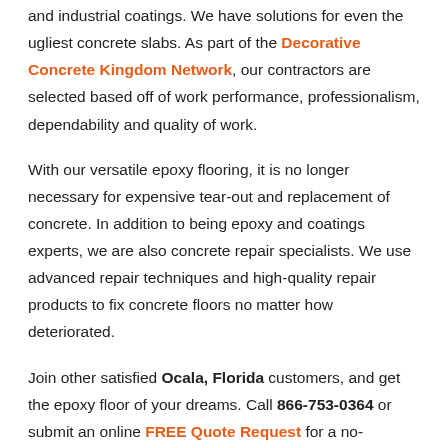and industrial coatings. We have solutions for even the ugliest concrete slabs. As part of the Decorative Concrete Kingdom Network, our contractors are selected based off of work performance, professionalism, dependability and quality of work.
With our versatile epoxy flooring, it is no longer necessary for expensive tear-out and replacement of concrete. In addition to being epoxy and coatings experts, we are also concrete repair specialists. We use advanced repair techniques and high-quality repair products to fix concrete floors no matter how deteriorated.
Join other satisfied Ocala, Florida customers, and get the epoxy floor of your dreams. Call 866-753-0364 or submit an online FREE Quote Request for a no-pressure design consultation.